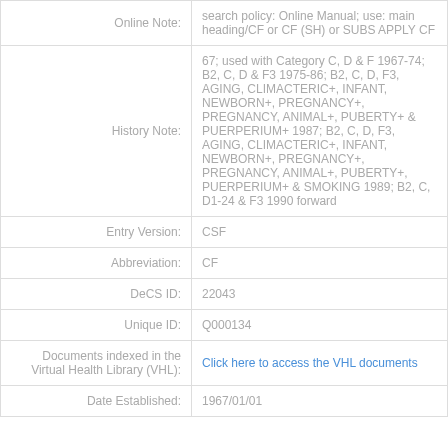| Online Note: | search policy: Online Manual; use: main heading/CF or CF (SH) or SUBS APPLY CF |
| History Note: | 67; used with Category C, D & F 1967-74; B2, C, D & F3 1975-86; B2, C, D, F3, AGING, CLIMACTERIC+, INFANT, NEWBORN+, PREGNANCY+, PREGNANCY, ANIMAL+, PUBERTY+ & PUERPERIUM+ 1987; B2, C, D, F3, AGING, CLIMACTERIC+, INFANT, NEWBORN+, PREGNANCY+, PREGNANCY, ANIMAL+, PUBERTY+, PUERPERIUM+ & SMOKING 1989; B2, C, D1-24 & F3 1990 forward |
| Entry Version: | CSF |
| Abbreviation: | CF |
| DeCS ID: | 22043 |
| Unique ID: | Q000134 |
| Documents indexed in the Virtual Health Library (VHL): | Click here to access the VHL documents |
| Date Established: | 1967/01/01 |